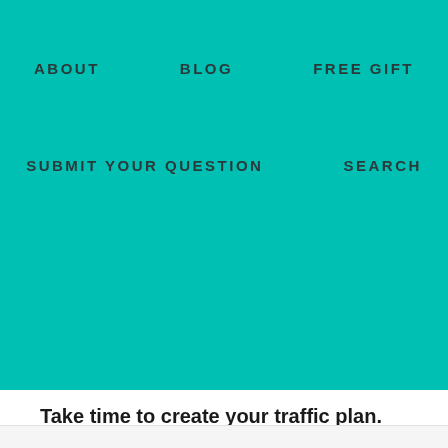ABOUT   BLOG   FREE GIFT   SUBMIT YOUR QUESTION   SEARCH
Take time to create your traffic plan.